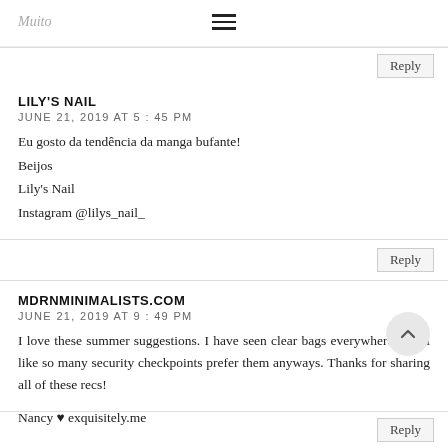Muito
Reply
LILY'S NAIL
JUNE 21, 2019 AT 5:45 PM

Eu gosto da tendência da manga bufante!
Beijos
Lily's Nail
Instagram @lilys_nail_
Reply
MDRNMINIMALISTS.COM
JUNE 21, 2019 AT 9:49 PM

I love these summer suggestions. I have seen clear bags everywhere. I feel like so many security checkpoints prefer them anyways. Thanks for sharing all of these recs!

Nancy ♥ exquisitely.me
Reply